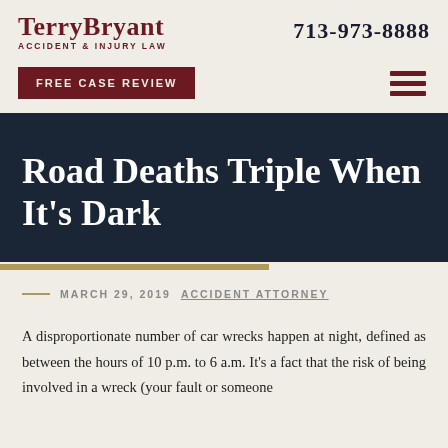TerryBryant ACCIDENT & INJURY LAW | 713-973-8888
FREE CASE REVIEW
Road Deaths Triple When It's Dark
MARCH 29, 2019  ACCIDENT ATTORNEY
A disproportionate number of car wrecks happen at night, defined as between the hours of 10 p.m. to 6 a.m. It's a fact that the risk of being involved in a wreck (your fault or someone